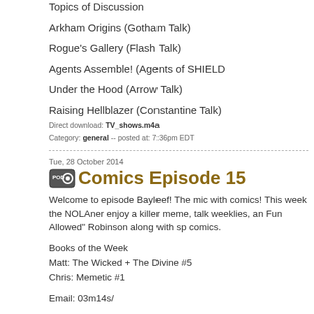Topics of Discussion
Arkham Origins (Gotham Talk)
Rogue's Gallery (Flash Talk)
Agents Assemble! (Agents of SHIELD
Under the Hood (Arrow Talk)
Raising Hellblazer (Constantine Talk)
Direct download: TV_shows.m4a
Category: general -- posted at: 7:36pm EDT
Tue, 28 October 2014
Comics Episode 15
Welcome to episode Bayleef! The mic with comics! This week the NOLAner enjoy a killer meme, talk weeklies, an Fun Allowed" Robinson along with sp comics.
Books of the Week
Matt: The Wicked + The Divine #5
Chris: Memetic #1
Email: 03m14s/